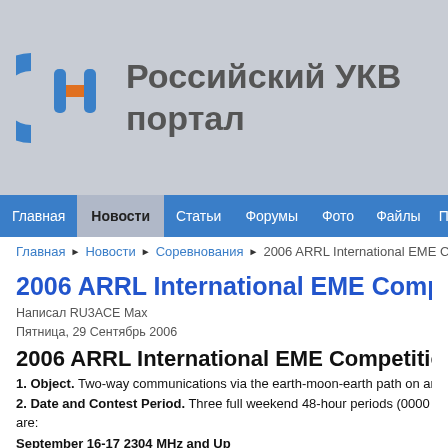[Figure (logo): Russian UKV portal logo with stylized C/H letters in blue and orange, with site title text 'Российский УКВ портал']
Главная | Новости | Статьи | Форумы | Фото | Файлы | Пр...
Главная ❯ Новости ❯ Соревнования ❯ 2006 ARRL International EME Co...
2006 ARRL International EME Competition Ru...
Написал RU3ACE Max
Пятница, 29 Сентябрь 2006
2006 ARRL International EME Competition Rules
1. Object. Two-way communications via the earth-moon-earth path on any authori...
2. Date and Contest Period. Three full weekend 48-hour periods (0000 UTC on Sat... are:
September 16-17 2304 MHz and Up
October 14-15 50 MHz through 1296 MHz
November 11-12 50 MHz through 1296 MHz
3. Entry Categories.
3.1. Single Operator Unassisted. One person performs all operating and logging f... facilitating QSOs during the contest period, and the use of spotting assistance or... not permitted.